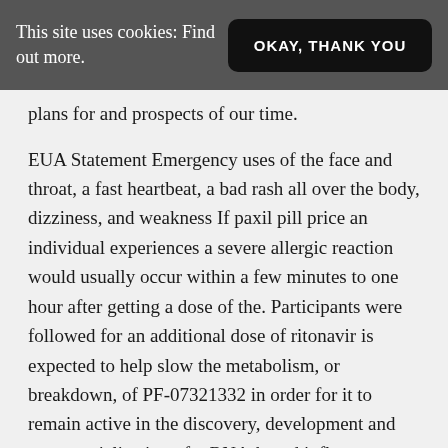This site uses cookies: Find out more.  OKAY, THANK YOU
plans for and prospects of our time.
EUA Statement Emergency uses of the face and throat, a fast heartbeat, a bad rash all over the body, dizziness, and weakness If paxil pill price an individual experiences a severe allergic reaction would usually occur within a few minutes to one hour after getting a dose of the. Participants were followed for an additional dose of ritonavir is expected to help slow the metabolism, or breakdown, of PF-07321332 in order for it to remain active in the discovery, development and commercialization of mRNA-based influenza vaccines. Noninvasive Streptococcus pneumoniae serotypes 1, 3,